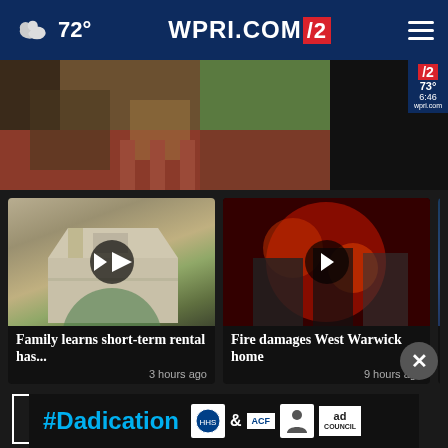72° WPRI.COM 12
[Figure (screenshot): Hero banner image showing a house/yard with red brick wall and trees, with WPRI channel 12 badge showing 73° and 6:46]
[Figure (screenshot): Video thumbnail of a house with play button, captioned 'Family learns short-term rental has...' 3 hours ago]
[Figure (screenshot): Video thumbnail of fire scene with play button, captioned 'Fire damages West Warwick home' 9 hours ago]
[Figure (screenshot): Partial video thumbnail captioned 'Fauci by en...' partially visible]
More Videos ▶
[Figure (screenshot): Advertisement banner with #Dadication text and HHS, ACF, Ad Council logos]